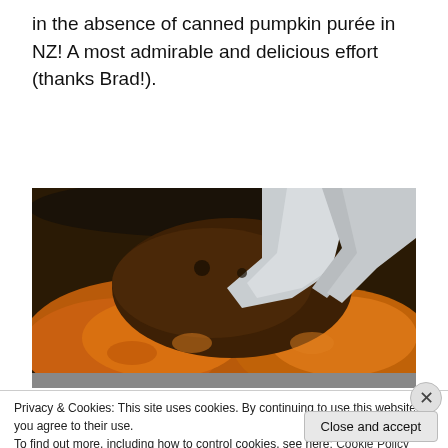in the absence of canned pumpkin purée in NZ! A most admirable and delicious effort (thanks Brad!).
[Figure (photo): Close-up photo of a metal pot or pan containing what appears to be cooked pumpkin or squash being mashed or stirred, with a silver ladle or spoon visible.]
Privacy & Cookies: This site uses cookies. By continuing to use this website, you agree to their use.
To find out more, including how to control cookies, see here: Cookie Policy